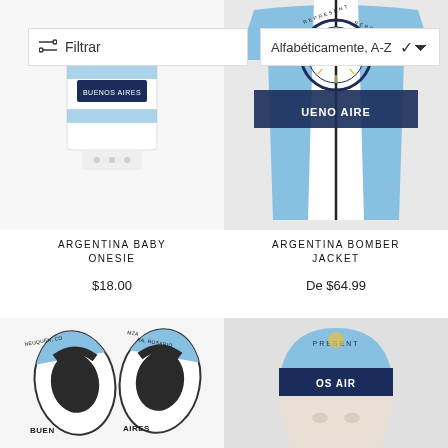[Figure (screenshot): E-commerce product listing page showing Argentina-themed merchandise with filter bar and sort dropdown]
Filtrar
Alfabéticamente, A-Z
[Figure (photo): Argentina Baby Onesie - white onesie with Buenos Aires graphic]
ARGENTINA BABY ONESIE
$18.00
[Figure (photo): Argentina Bomber Jacket - blue and white jacket with Buenos Aires represent graphic]
ARGENTINA BOMBER JACKET
De $64.99
[Figure (photo): Argentina flip flops with Neuquén, Córdoba, Rosario, Mendoza, Buenos Aires graphics]
[Figure (photo): Argentina beanie hat on mannequin with represent Buenos Aires graphics]